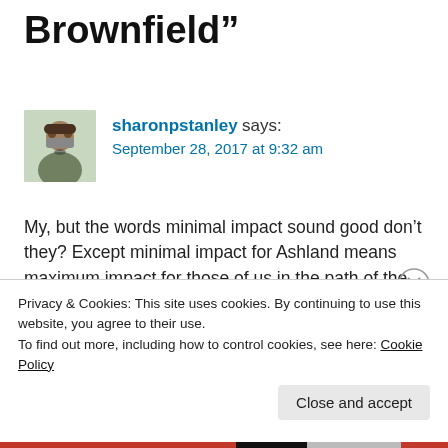Brownfield”
[Figure (photo): Avatar photo of user sharonpstanley, a person wearing glasses]
sharonpstanley says:
September 28, 2017 at 9:32 am
My, but the words minimal impact sound good don’t they? Except minimal impact for Ashland means maximum impact for those of us in the path of the bypass. Minimum impact for Ashland means in essence that Ashland has a problem they cannot handle so instead they recommend the only viable option is to hand that problem off to it’s
Privacy & Cookies: This site uses cookies. By continuing to use this website, you agree to their use.
To find out more, including how to control cookies, see here: Cookie Policy
Close and accept